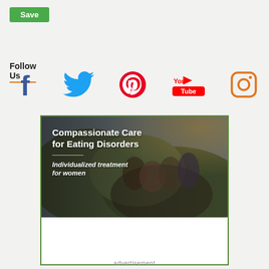Save
Follow Us
[Figure (infographic): Social media icons row: Facebook, Twitter, Pinterest, YouTube, Instagram]
[Figure (photo): Advertisement banner: Compassionate Care for Eating Disorders – Individualized treatment for women. Shows a group of diverse women outdoors smiling.]
advertisement